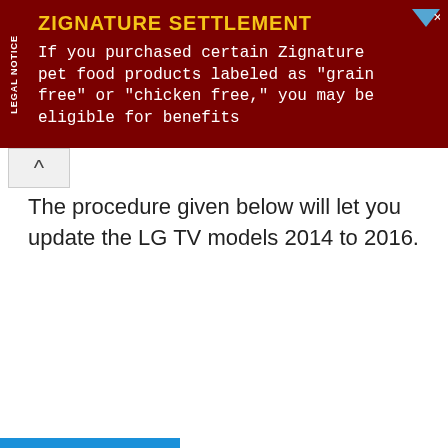[Figure (screenshot): Advertisement banner for Zignature Settlement with dark red background, 'LEGAL NOTICE' tab on left side, yellow title text 'ZIGNATURE SETTLEMENT', white body text about grain free and chicken free pet food products, and a close/play button in top right corner.]
The procedure given below will let you update the LG TV models 2014 to 2016.